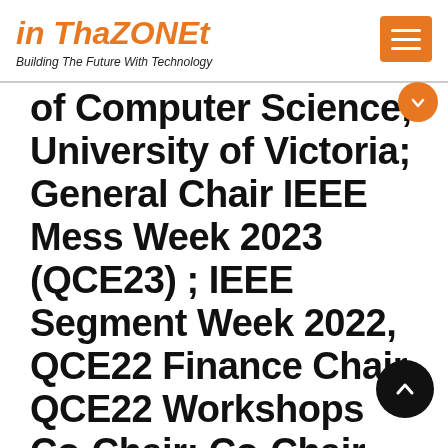in ThaZONEt
Building The Future With Technology
of Computer Science; University of Victoria; General Chair IEEE Mess Week 2023 (QCE23) ; IEEE Segment Week 2022, QCE22 Finance Chair, QCE22 Workshops Co-Chair; Co-Chair IEEE Future Directions Committee initiatives (